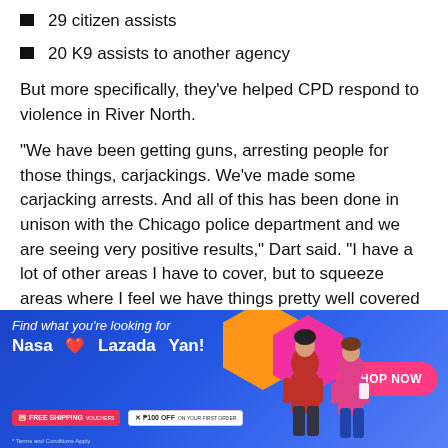29 citizen assists
20 K9 assists to another agency
But more specifically, they've helped CPD respond to violence in River North.
“We have been getting guns, arresting people for those things, carjackings. We’ve made some carjacking arrests. And all of this has been done in unison with the Chicago police department and we are seeing very positive results,” Dart said. “I have a lot of other areas I have to cover, but to squeeze areas where I feel we have things pretty well covered and bring resources into areas where
[Figure (infographic): Lazada advertisement banner: 'Find what you’re looking for Nasa Lazada Yan!' with Shop Now button, Free Shipping and P100 Off badges, and two women in pink clothing against colorful hexagon shapes on blue gradient background.]